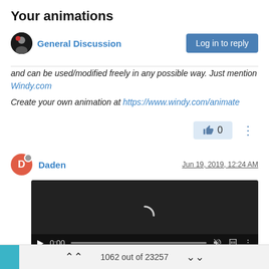Your animations
General Discussion
and can be used/modified freely in any possible way. Just mention Windy.com
Create your own animation at https://www.windy.com/animate
Daden  Jun 19, 2019, 12:24 AM
[Figure (screenshot): Video player with dark background, showing a loading spinner arc, play button, 0:00 timestamp, and video controls]
1062 out of 23257